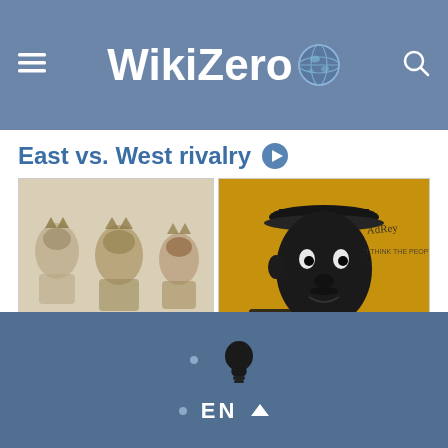WikiZero
East vs. West rivalry
[Figure (photo): Two graffiti artworks side by side: left shows stencil portraits of the Notorious B.I.G. on a light wall; right shows a colorful mural of Tupac Shakur with 'RIP 1971-1996' on an orange background]
These graffiti arts are a tribute to East and West Coast rappers the Notorious B.I.G. and Tupac Shakur, who were killed in a drive-by shooting
The East Coast–West Coast hip hop rivalry was a feud from 1991
EN